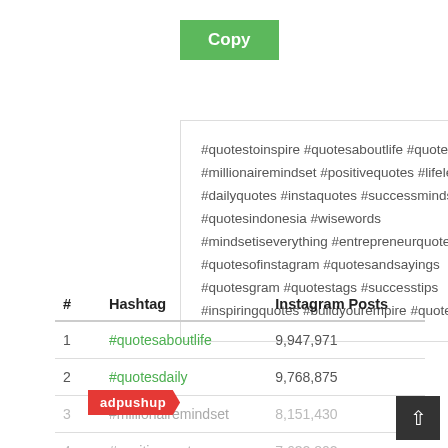Copy
#quotestoinspire #quotesaboutlife #quotesdaily #millionairemindset #positivequotes #lifelessons #dailyquotes #instaquotes #successmindset #quotesindonesia #wisewords #mindsetiseverything #entrepreneurquotes #quotesofinstagram #quotesandsayings #quotesgram #quotestags #successtips #inspiringquotes #buildyourempire #quotesforlife
| # | Hashtag | Instagram Posts |
| --- | --- | --- |
| 1 | #quotesaboutlife | 9,947,971 |
| 2 | #quotesdaily | 9,768,875 |
| 3 | #millionairemindset | 8,151,430 |
| 4 | #positivequotes | 7,632,802 |
[Figure (logo): adpushup red banner logo]